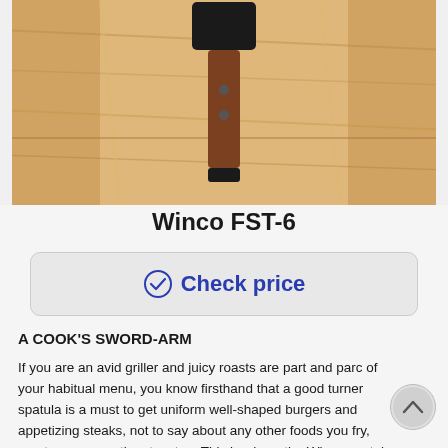[Figure (photo): A spatula with a dark head and brown wooden handle with two rivets, lying on a light wooden cutting board surface.]
Winco FST-6
✓ Check price
A COOK'S SWORD-ARM
If you are an avid griller and juicy roasts are part and parcel of your habitual menu, you know firsthand that a good turner spatula is a must to get uniform well-shaped burgers and appetizing steaks, not to say about any other foods you fry, roast, or sear on the stovetop. This is where the Winco spatula will come into play.